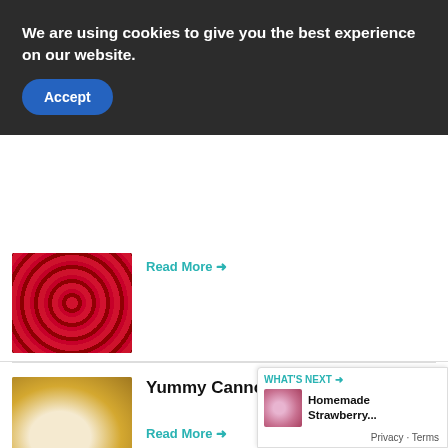We are using cookies to give you the best experience on our website.
Accept
[Figure (photo): Close-up of fresh raspberries in a tray]
Read More →
[Figure (photo): Cannoli cupcake with cream frosting]
Yummy Cannoli Cupcakes
Read More →
[Figure (photo): Raspberry lemonade cupcake with pink frosting]
Delicious Raspberry Lemonade Cupcakes
WHAT'S NEXT → Homemade Strawberry...
Privacy · Terms